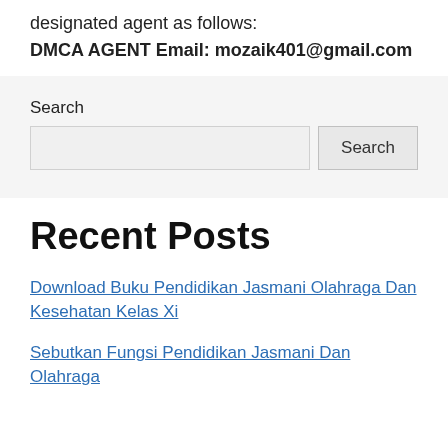designated agent as follows:
DMCA AGENT Email: mozaik401@gmail.com
Search
Recent Posts
Download Buku Pendidikan Jasmani Olahraga Dan Kesehatan Kelas Xi
Sebutkan Fungsi Pendidikan Jasmani Dan Olahraga